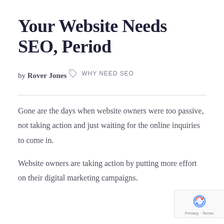Your Website Needs SEO, Period
by Rover Jones
WHY NEED SEO
Gone are the days when website owners were too passive, not taking action and just waiting for the online inquiries to come in.
Website owners are taking action by putting more effort on their digital marketing campaigns.